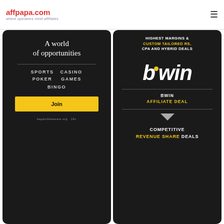affpapa.com — where operators meet affiliates
[Figure (infographic): Dark themed banner: 'A world of opportunities' with SPORTS, CASINO, POKER, GAMES, BINGO categories, a yellow Join button, and begambleaware.org 18+ notice]
[Figure (infographic): Bwin affiliate deal dark banner: 'HIGHEST MARGINS & CUSTOM TAILORED RS, CPA AND HYBRID DEALS', bwin logo, 'BWIN AFFILIATE DEAL', 'COMPETITIVE REVENUE SHARE DEALS']